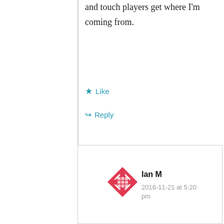and touch players get where I'm coming from.
★ Like
↳ Reply
[Figure (logo): Red geometric avatar icon for user Ian M]
Ian M
2016-11-21 at 5:20 pm
While it's possible to have a road race car that is street legal, IMHO they are unsafe to use on